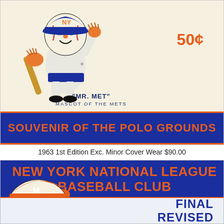[Figure (illustration): Vintage New York Mets souvenir program cover showing 'Mr. Met' mascot figure holding a baseball bat, with price '50¢' in orange, and 'Mr. Met Mascot of the Mets' label below, above a dark blue banner reading 'SOUVENIR OF THE POLO GROUNDS']
1963 1st Edition Exc. Minor Cover Wear $90.00
[Figure (illustration): Vintage New York Mets media guide cover on dark blue background with orange text 'NEW YORK NATIONAL LEAGUE BASEBALL CLUB', Mr. Met mascot face in lower left, and 'FINAL REVISED' text in dark blue on lighter strip at bottom right]